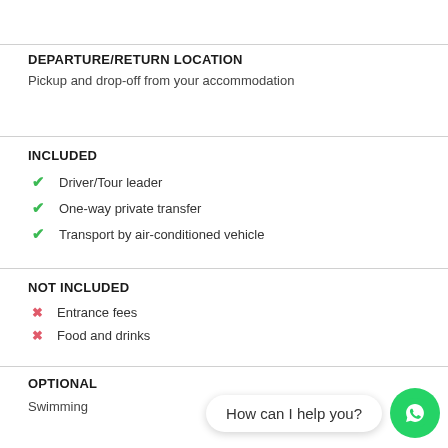DEPARTURE/RETURN LOCATION
Pickup and drop-off from your accommodation
INCLUDED
Driver/Tour leader
One-way private transfer
Transport by air-conditioned vehicle
NOT INCLUDED
Entrance fees
Food and drinks
OPTIONAL
Swimming
How can I help you?